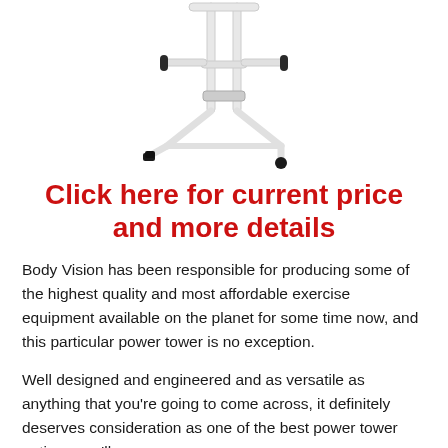[Figure (photo): White metal power tower / exercise equipment stand with handles and rubber feet, shown on white background]
Click here for current price and more details
Body Vision has been responsible for producing some of the highest quality and most affordable exercise equipment available on the planet for some time now, and this particular power tower is no exception.
Well designed and engineered and as versatile as anything that you're going to come across, it definitely deserves consideration as one of the best power tower options you'll